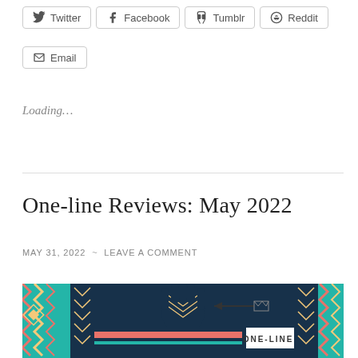Twitter  Facebook  Tumblr  Reddit  Email (share buttons)
Loading…
One-line Reviews: May 2022
MAY 31, 2022  ~  LEAVE A COMMENT
[Figure (illustration): Decorative header image with an Aztec/tribal pattern background in navy, pink, teal, and cream colors. A dark navy hamsa-like silhouette with chevron patterns at the top, an arrow pointing left, and a white banner reading ONE-LINE REVIEWS in the center.]